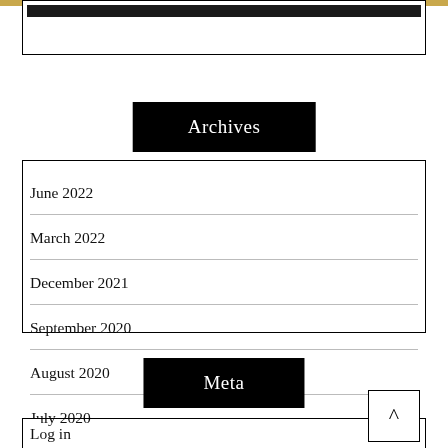Archives
June 2022
March 2022
December 2021
September 2020
August 2020
July 2020
Meta
Log in